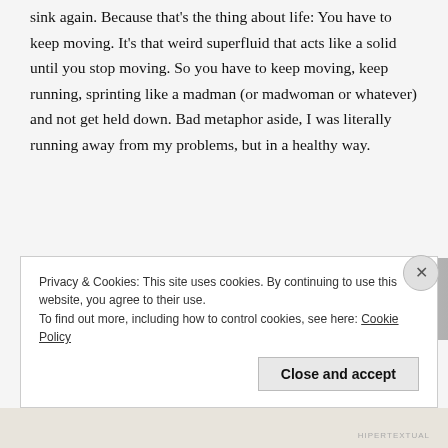sink again. Because that's the thing about life: You have to keep moving. It's that weird superfluid that acts like a solid until you stop moving. So you have to keep moving, keep running, sprinting like a madman (or madwoman or whatever) and not get held down. Bad metaphor aside, I was literally running away from my problems, but in a healthy way.
[Figure (photo): Partial photo strip showing dark, reddish and grey tones, possibly gym equipment or weights]
Privacy & Cookies: This site uses cookies. By continuing to use this website, you agree to their use.
To find out more, including how to control cookies, see here: Cookie Policy